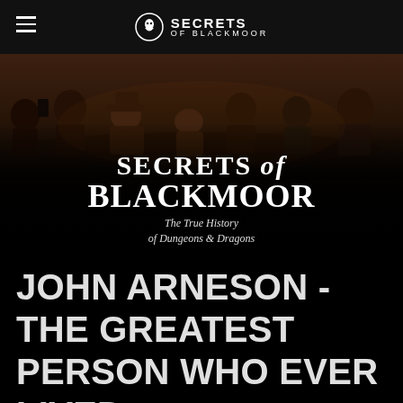SECRETS of BLACKMOOR
[Figure (photo): Group of people sitting around a table in a dimly lit room, viewed from the side, with dark atmospheric lighting. This appears to be a documentary film scene.]
SECRETS of BLACKMOOR
The True History
of Dungeons & Dragons
JOHN ARNESON - THE GREATEST PERSON WHO EVER LIVED